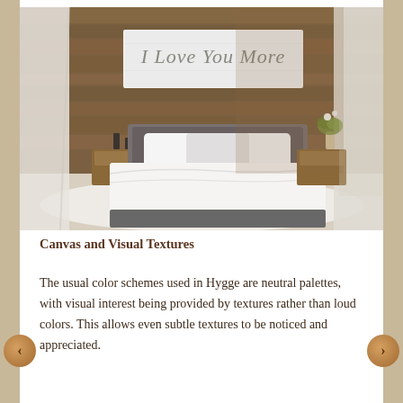[Figure (photo): Bedroom interior with wooden plank wall, a low-profile gray bed with white bedding, two wooden nightstands, a plant, curtains on both sides, and a white horizontal canvas print on the wall reading 'I Love You More' in cursive script.]
Canvas and Visual Textures
The usual color schemes used in Hygge are neutral palettes, with visual interest being provided by textures rather than loud colors. This allows even subtle textures to be noticed and appreciated.